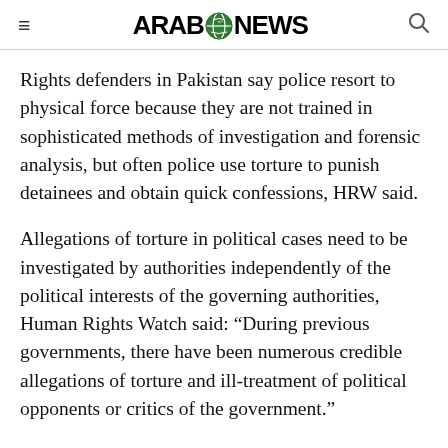ARAB NEWS
Rights defenders in Pakistan say police resort to physical force because they are not trained in sophisticated methods of investigation and forensic analysis, but often police use torture to punish detainees and obtain quick confessions, HRW said.
Allegations of torture in political cases need to be investigated by authorities independently of the political interests of the governing authorities, Human Rights Watch said: “During previous governments, there have been numerous credible allegations of torture and ill-treatment of political opponents or critics of the government.”